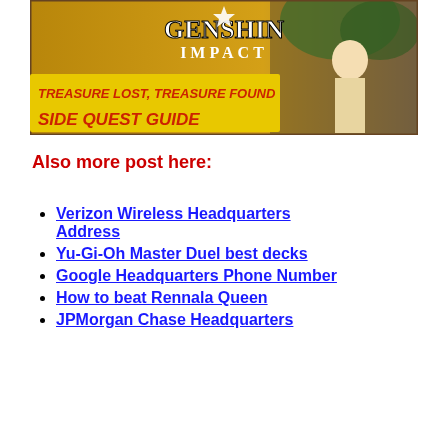[Figure (illustration): Genshin Impact banner image with text 'TREASURE LOST, TREASURE FOUND SIDE QUEST GUIDE' and a character illustration]
Also more post here:
Verizon Wireless Headquarters Address
Yu-Gi-Oh Master Duel best decks
Google Headquarters Phone Number
How to beat Rennala Queen
JPMorgan Chase Headquarters